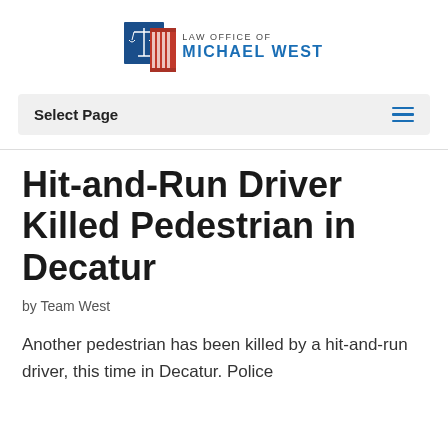[Figure (logo): Law Office of Michael West logo — blue scales of justice icon and red striped column icon, with text 'LAW OFFICE OF MICHAEL WEST']
Select Page
Hit-and-Run Driver Killed Pedestrian in Decatur
by Team West
Another pedestrian has been killed by a hit-and-run driver, this time in Decatur. Police